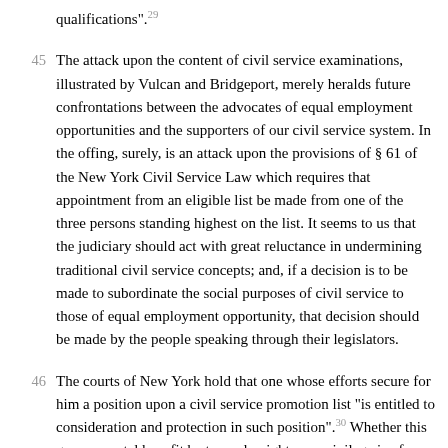qualifications".29
45  The attack upon the content of civil service examinations, illustrated by Vulcan and Bridgeport, merely heralds future confrontations between the advocates of equal employment opportunities and the supporters of our civil service system. In the offing, surely, is an attack upon the provisions of § 61 of the New York Civil Service Law which requires that appointment from an eligible list be made from one of the three persons standing highest on the list. It seems to us that the judiciary should act with great reluctance in undermining traditional civil service concepts; and, if a decision is to be made to subordinate the social purposes of civil service to those of equal employment opportunity, that decision should be made by the people speaking through their legislators.
46  The courts of New York hold that one whose efforts secure for him a position upon a civil service promotion list "is entitled to consideration and protection in such position".30 Whether this governmental benefit be termed a right or a privilege is of no significance; constitutional rights do not turn upon such issues.31
47  So long as civil service remains the constitutionally mandated route